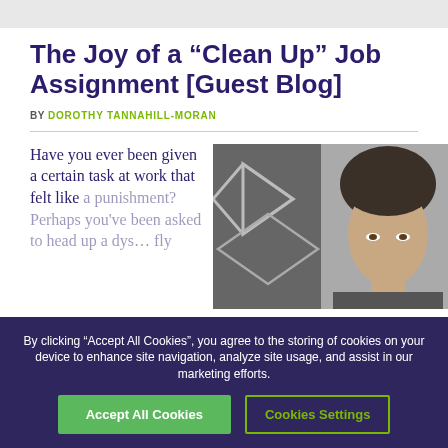The Joy of a “Clean Up” Job Assignment [Guest Blog]
BY DOROTHY TANNAHILL-MORAN
[Figure (photo): Head and shoulders portrait of a person with dark hair in front of a geometric patterned background]
Have you ever been given a certain task at work that felt like a punishment? Perhaps you’ve been asked to head up a dysfunctional team or fly...
By clicking “Accept All Cookies”, you agree to the storing of cookies on your device to enhance site navigation, analyze site usage, and assist in our marketing efforts.